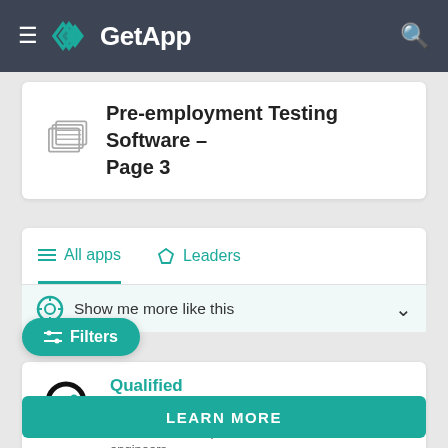GetApp
Pre-employment Testing Software – Page 3
All apps   Leaders
Show me more like this
Filters
Qualified
4.6  (7)
Skill assessment platform to recruit software engineers
LEARN MORE